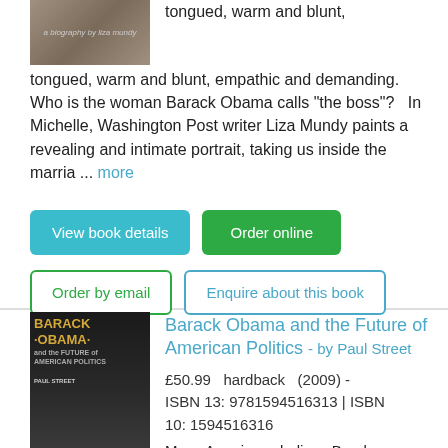[Figure (photo): Book cover image partially visible at top left, showing a biography by Liza Mundy]
tongued, warm and blunt, empathic and demanding. Who is the woman Barack Obama calls "the boss"?   In Michelle, Washington Post writer Liza Mundy paints a revealing and intimate portrait, taking us inside the marria ... more
View book details
Order online
Order by email
Enquire about this book
[Figure (photo): Book cover of Barack Obama and the Future of American Politics by Paul Street, showing Obama in a dark setting with a chair]
Barack Obama and the Future of American Politics - by Paul Street
£50.99   hardback   (2009) - ISBN 13: 9781594516313 | ISBN 10: 1594516316
Many Americans believe Barak